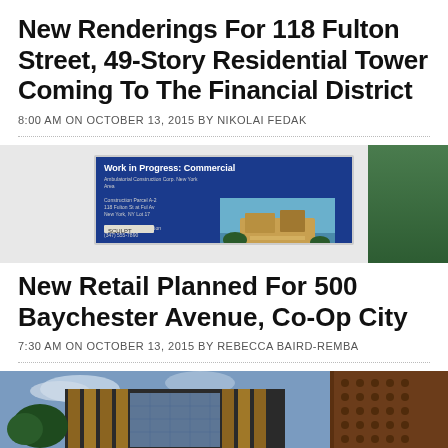New Renderings For 118 Fulton Street, 49-Story Residential Tower Coming To The Financial District
8:00 AM ON OCTOBER 13, 2015 BY NIKOLAI FEDAK
[Figure (photo): Construction site sign reading 'Work in Progress: Commercial' with a rendering of a building, set against green foliage]
New Retail Planned For 500 Baychester Avenue, Co-Op City
7:30 AM ON OCTOBER 13, 2015 BY REBECCA BAIRD-REMBA
[Figure (photo): Architectural rendering of a modern multi-story building with glass facade and decorative brick/wood elements]